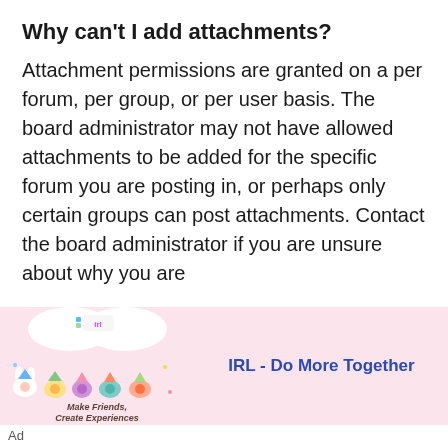Why can't I add attachments?
Attachment permissions are granted on a per forum, per group, or per user basis. The board administrator may not have allowed attachments to be added for the specific forum you are posting in, or perhaps only certain groups can post attachments. Contact the board administrator if you are unsure about why you are
[Figure (infographic): Advertisement banner for IRL - Do More Together app, showing cartoon animal characters with party hats and the text Make Friends, Create Experiences on a pink background]
Ad